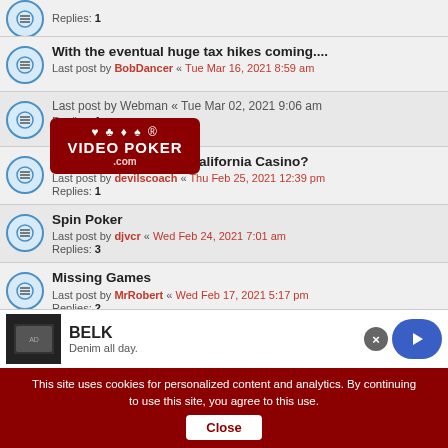Replies: 1
With the eventual huge tax hikes coming.... Last post by BobDancer « Tue Mar 16, 2021 8:59 am
[Figure (logo): VideoPoker.com logo with card suit symbols]
Last post by Webman « Tue Mar 02, 2021 9:06 am Replies: 1
What is your favorite California Casino? Last post by devilscoach « Thu Feb 25, 2021 12:39 pm Replies: 1
Spin Poker Last post by djvcr « Wed Feb 24, 2021 7:01 am Replies: 3
Missing Games Last post by MrRobert « Wed Feb 17, 2021 5:17 pm Replies: 2
Super Times Pay
[Figure (screenshot): BELK advertisement banner: Denim all day.]
This site uses cookies for personalized content and analytics. By continuing to use this site, you agree to this use. Close